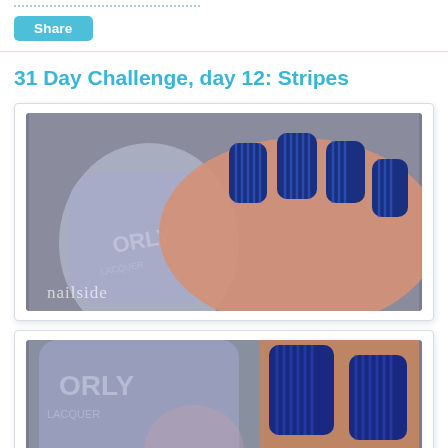[Figure (other): Dotted line / separator at top of page]
[Figure (other): Share button (teal/blue rounded rectangle with text 'Share')]
31 Day Challenge, day 12: Stripes
[Figure (photo): Photo of hand holding a lavender Orly nail lacquer bottle, with nails painted dark navy blue with vertical stripe nail art. Watermark reads 'nailside' in lower left.]
[Figure (photo): Second photo, cropped closer, showing the same Orly nail lacquer bottle and nails with blue/dark stripe nail art design.]